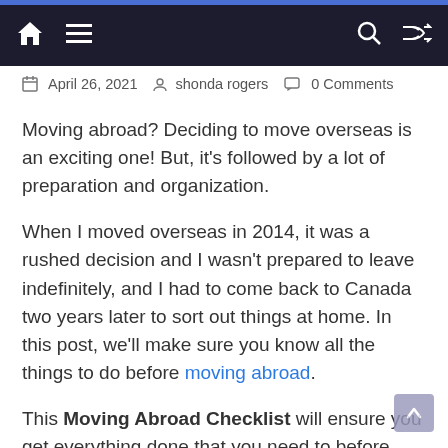Navigation bar with home icon, hamburger menu, search icon, and shuffle icon
April 26, 2021   shonda rogers   0 Comments
Moving abroad? Deciding to move overseas is an exciting one! But, it's followed by a lot of preparation and organization.
When I moved overseas in 2014, it was a rushed decision and I wasn't prepared to leave indefinitely, and I had to come back to Canada two years later to sort out things at home. In this post, we'll make sure you know all the things to do before moving abroad.
This Moving Abroad Checklist will ensure you get everything done that you need to before heading overseas. At the end of the post, there's a packing list for moving abroad that includes all the